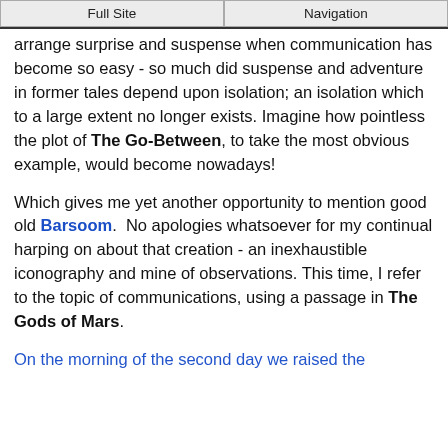Full Site | Navigation
arrange surprise and suspense when communication has become so easy - so much did suspense and adventure in former tales depend upon isolation; an isolation which to a large extent no longer exists. Imagine how pointless the plot of The Go-Between, to take the most obvious example, would become nowadays!
Which gives me yet another opportunity to mention good old Barsoom.  No apologies whatsoever for my continual harping on about that creation - an inexhaustible iconography and mine of observations. This time, I refer to the topic of communications, using a passage in The Gods of Mars.
On the morning of the second day we raised the